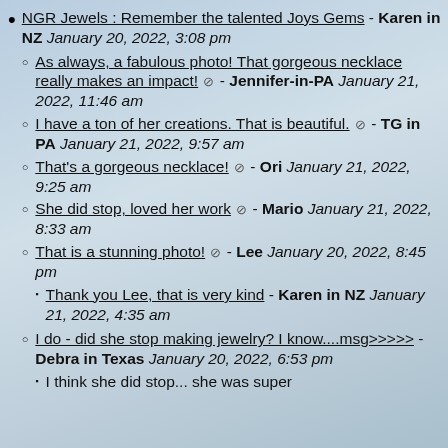NGR Jewels : Remember the talented Joys Gems - Karen in NZ January 20, 2022, 3:08 pm
As always, a fabulous photo! That gorgeous necklace really makes an impact! ⊘ - Jennifer-in-PA January 21, 2022, 11:46 am
I have a ton of her creations. That is beautiful. ⊘ - TG in PA January 21, 2022, 9:57 am
That's a gorgeous necklace! ⊘ - Ori January 21, 2022, 9:25 am
She did stop, loved her work ⊘ - Mario January 21, 2022, 8:33 am
That is a stunning photo! ⊘ - Lee January 20, 2022, 8:45 pm
Thank you Lee, that is very kind - Karen in NZ January 21, 2022, 4:35 am
I do - did she stop making jewelry? I know....msg>>>>> - Debra in Texas January 20, 2022, 6:53 pm
I think she did stop... she was super